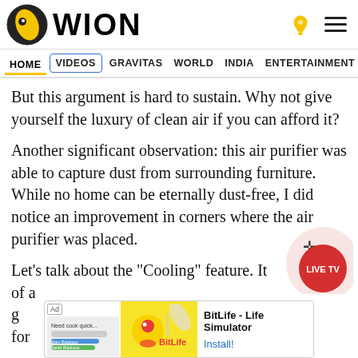WION
HOME  VIDEOS  GRAVITAS  WORLD  INDIA  ENTERTAINMENT  SPORTS
But this argument is hard to sustain. Why not give yourself the luxury of clean air if you can afford it?
Another significant observation: this air purifier was able to capture dust from surrounding furniture. While no home can be eternally dust-free, I did notice an improvement in corners where the air purifier was placed.
Let's talk about the "Cooling" feature. It  e of a g  summ  g for
[Figure (screenshot): LIVE TV button overlay - red circular button with 'LIVE TV' text and move cross icon]
[Figure (screenshot): Ad banner for BitLife - Life Simulator app with yellow background and 'Install!' link]